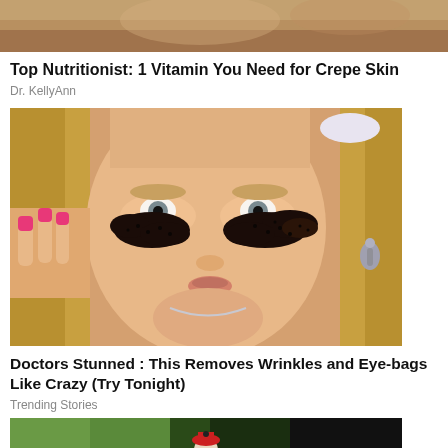[Figure (photo): Cropped top portion of an image showing a brown/tan background, partially visible]
Top Nutritionist: 1 Vitamin You Need for Crepe Skin
Dr. KellyAnn
[Figure (photo): Close-up photo of a blonde woman applying dark coffee grounds or similar substance under her eyes with pink fingernails, wearing a silver drop earring, wide-eyed expression]
Doctors Stunned : This Removes Wrinkles and Eye-bags Like Crazy (Try Tonight)
Trending Stories
[Figure (photo): Partially visible bottom image with green background and a small figure/character visible at center]